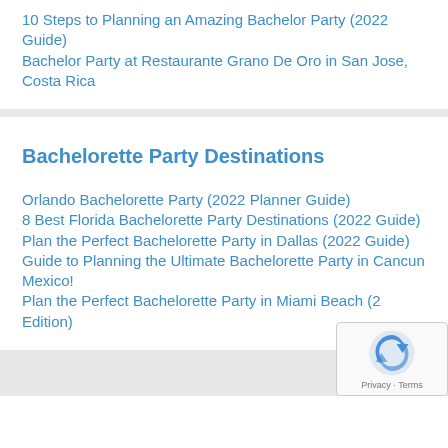10 Steps to Planning an Amazing Bachelor Party (2022 Guide)
Bachelor Party at Restaurante Grano De Oro in San Jose, Costa Rica
Bachelorette Party Destinations
Orlando Bachelorette Party (2022 Planner Guide)
8 Best Florida Bachelorette Party Destinations (2022 Guide)
Plan the Perfect Bachelorette Party in Dallas (2022 Guide)
Guide to Planning the Ultimate Bachelorette Party in Cancun Mexico!
Plan the Perfect Bachelorette Party in Miami Beach (2022 Edition)